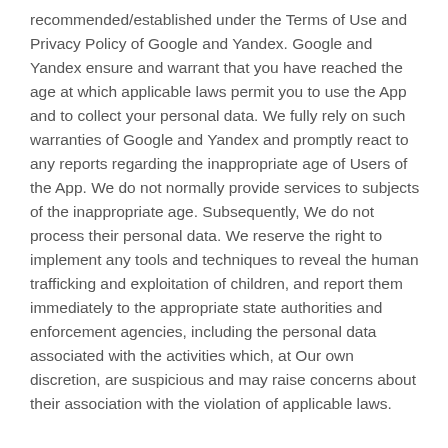recommended/established under the Terms of Use and Privacy Policy of Google and Yandex. Google and Yandex ensure and warrant that you have reached the age at which applicable laws permit you to use the App and to collect your personal data. We fully rely on such warranties of Google and Yandex and promptly react to any reports regarding the inappropriate age of Users of the App. We do not normally provide services to subjects of the inappropriate age. Subsequently, We do not process their personal data. We reserve the right to implement any tools and techniques to reveal the human trafficking and exploitation of children, and report them immediately to the appropriate state authorities and enforcement agencies, including the personal data associated with the activities which, at Our own discretion, are suspicious and may raise concerns about their association with the violation of applicable laws.